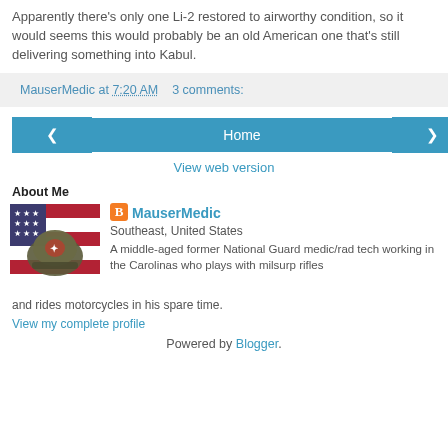Apparently there's only one Li-2 restored to airworthy condition, so it would seems this would probably be an old American one that's still delivering something into Kabul.
MauserMedic at 7:20 AM   3 comments:
[Figure (other): Navigation buttons: left arrow, Home button, right arrow]
View web version
About Me
[Figure (photo): Profile photo showing a military helmet against an American flag background]
MauserMedic
Southeast, United States
A middle-aged former National Guard medic/rad tech working in the Carolinas who plays with milsurp rifles and rides motorcycles in his spare time.
View my complete profile
Powered by Blogger.